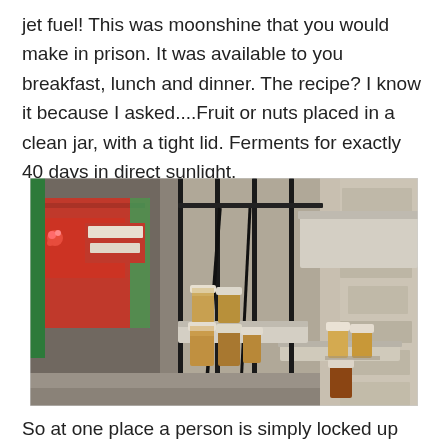jet fuel!  This was moonshine that you would make in prison.  It was available to you breakfast, lunch and dinner.  The recipe? I know it because I asked....Fruit or nuts placed in a clean jar, with a tight lid.  Ferments for exactly 40 days in direct sunlight.
[Figure (photo): Photograph showing glass jars with lids placed on stone ledges behind metal bars, with a red-and-green storefront visible in the background. The jars contain brownish liquid or fermented contents.]
So at one place a person is simply locked up and of